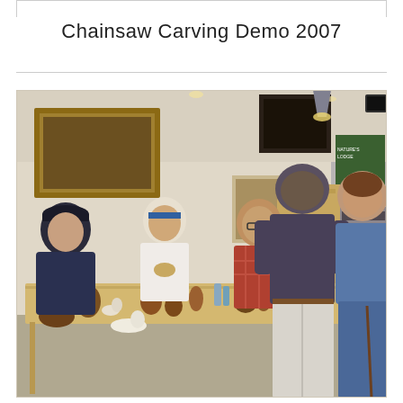Chainsaw Carving Demo 2007
[Figure (photo): Group of people seated around a table covered with wood carvings (birds, animals, figurines) in an indoor store or gallery setting. Several people are seated at the table examining and holding carvings, while two people stand on the right side. Framed artwork and store displays are visible in the background.]